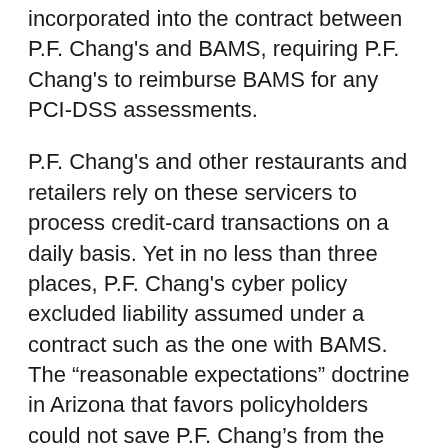incorporated into the contract between P.F. Chang's and BAMS, requiring P.F. Chang's to reimburse BAMS for any PCI-DSS assessments.
P.F. Chang's and other restaurants and retailers rely on these servicers to process credit-card transactions on a daily basis. Yet in no less than three places, P.F. Chang's cyber policy excluded liability assumed under a contract such as the one with BAMS. The “reasonable expectations” doctrine in Arizona that favors policyholders could not save P.F. Chang’s from the court’s interpretation of the plain wording of the policy.
A contractual liability exclusion is a standard exclusion in most commercial general liability policies. However, the exclusion typically